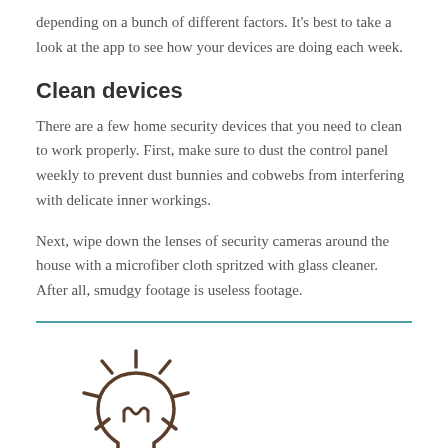depending on a bunch of different factors. It's best to take a look at the app to see how your devices are doing each week.
Clean devices
There are a few home security devices that you need to clean to work properly. First, make sure to dust the control panel weekly to prevent dust bunnies and cobwebs from interfering with delicate inner workings.
Next, wipe down the lenses of security cameras around the house with a microfiber cloth spritzed with glass cleaner. After all, smudgy footage is useless footage.
[Figure (illustration): Light bulb icon with rays, illustrated in dark brownish-gray outline style]